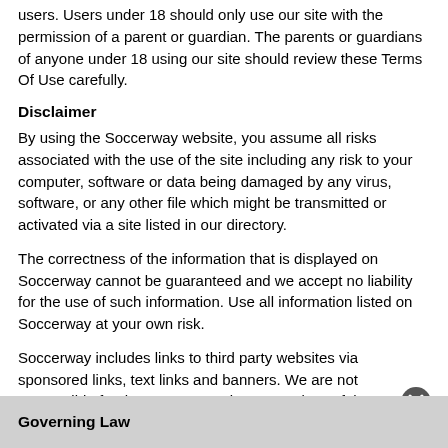users. Users under 18 should only use our site with the permission of a parent or guardian. The parents or guardians of anyone under 18 using our site should review these Terms Of Use carefully.
Disclaimer
By using the Soccerway website, you assume all risks associated with the use of the site including any risk to your computer, software or data being damaged by any virus, software, or any other file which might be transmitted or activated via a site listed in our directory.
The correctness of the information that is displayed on Soccerway cannot be guaranteed and we accept no liability for the use of such information. Use all information listed on Soccerway at your own risk.
Soccerway includes links to third party websites via sponsored links, text links and banners. We are not responsible for the content or privacy practices of these websites. All visits to those external websites that are not under Soccerway domain are your own responsibility.
Assignment
We may transfer, sub-contract or otherwise deal with our rights and/or obligations under these Terms of Use without notifying you or obtaining your consent.
Governing Law